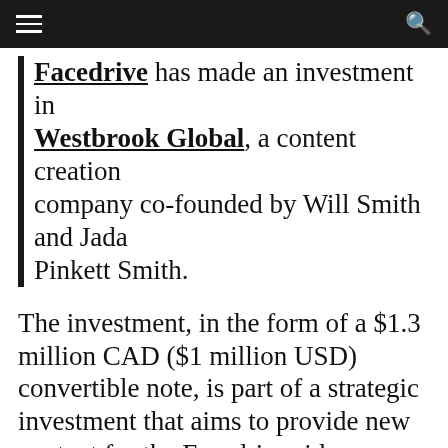[hamburger menu] [search icon]
Facedrive has made an investment in Westbrook Global, a content creation company co-founded by Will Smith and Jada Pinkett Smith.
The investment, in the form of a $1.3 million CAD ($1 million USD) convertible note, is part of a strategic investment that aims to provide new content for the Facedrive rider experience. Facedrive’s investment into Westbook also includes an option to purchase up to an additional $5.26 million CAD ($4 million USD) principal amount of convertible notes.
“We believe that our relationship with